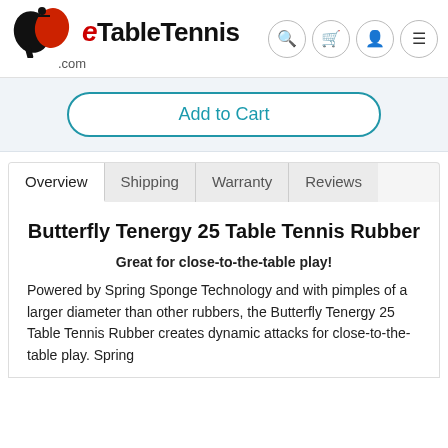[Figure (logo): eTableTennis.com logo with table tennis paddle icon in black and red]
Add to Cart
Overview | Shipping | Warranty | Reviews
Butterfly Tenergy 25 Table Tennis Rubber
Great for close-to-the-table play!
Powered by Spring Sponge Technology and with pimples of a larger diameter than other rubbers, the Butterfly Tenergy 25 Table Tennis Rubber creates dynamic attacks for close-to-the-table play. Spring